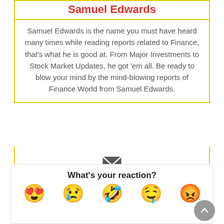Samuel Edwards
Samuel Edwards is the name you must have heard many times while reading reports related to Finance, that’s what he is good at. From Major Investments to Stock Market Updates, he got ’em all. Be ready to blow your mind by the mind-blowing reports of Finance World from Samuel Edwards.
[Figure (infographic): Envelope/email icon inside yellow-bordered contact section]
[Figure (infographic): Twitter Tweet button with bird icon, blue rounded pill shape]
What’s your reaction?
[Figure (infographic): Row of five reaction emoji faces: love, sad, laugh/ROFL, drool/sleepy, angry]